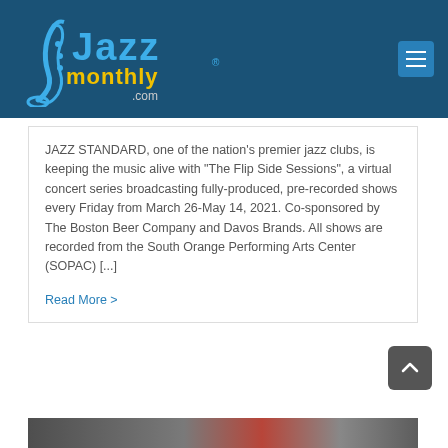[Figure (logo): Jazz Monthly .com logo with saxophone graphic on dark blue header bar]
JAZZ STANDARD, one of the nation's premier jazz clubs, is keeping the music alive with "The Flip Side Sessions", a virtual concert series broadcasting fully-produced, pre-recorded shows every Friday from March 26-May 14, 2021. Co-sponsored by The Boston Beer Company and Davos Brands. All shows are recorded from the South Orange Performing Arts Center (SOPAC) [...]
Read More >
[Figure (photo): Partial bottom image strip showing a dark and reddish-toned concert or event scene]